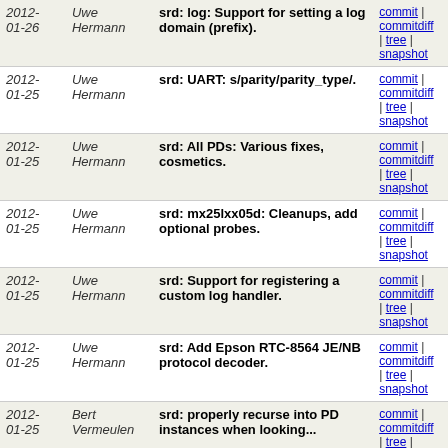| Date | Author | Message | Links |
| --- | --- | --- | --- |
| 2012-01-26 | Uwe Hermann | srd: log: Support for setting a log domain (prefix). | commit | commitdiff | tree | snapshot |
| 2012-01-25 | Uwe Hermann | srd: UART: s/parity/parity_type/. | commit | commitdiff | tree | snapshot |
| 2012-01-25 | Uwe Hermann | srd: All PDs: Various fixes, cosmetics. | commit | commitdiff | tree | snapshot |
| 2012-01-25 | Uwe Hermann | srd: mx25lxx05d: Cleanups, add optional probes. | commit | commitdiff | tree | snapshot |
| 2012-01-25 | Uwe Hermann | srd: Support for registering a custom log handler. | commit | commitdiff | tree | snapshot |
| 2012-01-25 | Uwe Hermann | srd: Add Epson RTC-8564 JE/NB protocol decoder. | commit | commitdiff | tree | snapshot |
| 2012-01-25 | Bert Vermeulen | srd: properly recurse into PD instances when looking... | commit | commitdiff | tree | snapshot |
| 2012-01-24 | Bert Vermeulen | sr: better error reporting | commit | commitdiff | tree | snapshot |
| 2012-01-24 | Bert Vermeulen | srd: change struct srd_pd_output to have a path to... | commit | commitdiff | tree | snapshot |
| 2012-01-23 | Uwe Hermann | srd: Prepend (not append) PD dirs to sys.path. | commit | commitdiff | tree | snapshot |
| 2012-01-... | Bert | srd: deal with invalid probe... | commit |